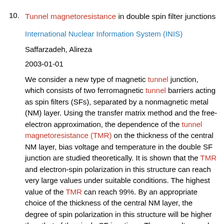10. Tunnel magnetoresistance in double spin filter junctions
International Nuclear Information System (INIS)
Saffarzadeh, Alireza
2003-01-01
We consider a new type of magnetic tunnel junction, which consists of two ferromagnetic tunnel barriers acting as spin filters (SFs), separated by a nonmagnetic metal (NM) layer. Using the transfer matrix method and the free-electron approximation, the dependence of the tunnel magnetoresistance (TMR) on the thickness of the central NM layer, bias voltage and temperature in the double SF junction are studied theoretically. It is shown that the TMR and electron-spin polarization in this structure can reach very large values under suitable conditions. The highest value of the TMR can reach 99%. By an appropriate choice of the thickness of the central NM layer, the degree of spin polarization in this structure will be higher than that of the single SF junctions. These results may be useful in designing future spin-polarized tunnelling devices.